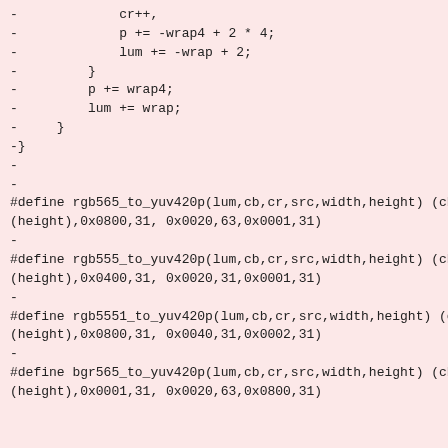-             cr++,
-             p += -wrap4 + 2 * 4;
-             lum += -wrap + 2;
-         }
-         p += wrap4;
-         lum += wrap;
-     }
-}
-
-
#define rgb565_to_yuv420p(lum,cb,cr,src,width,height) (cb),(cr),(src),(width),
(height),0x0800,31, 0x0020,63,0x0001,31)
-
#define rgb555_to_yuv420p(lum,cb,cr,src,width,height) (cb),(cr),(src),(width),
(height),0x0400,31, 0x0020,31,0x0001,31)
-
#define rgb5551_to_yuv420p(lum,cb,cr,src,width,height) (cb),(cr),(src),(width),
(height),0x0800,31, 0x0040,31,0x0002,31)
-
#define bgr565_to_yuv420p(lum,cb,cr,src,width,height) (cb),(cr),(src),(width),
(height),0x0001,31, 0x0020,63,0x0800,31)